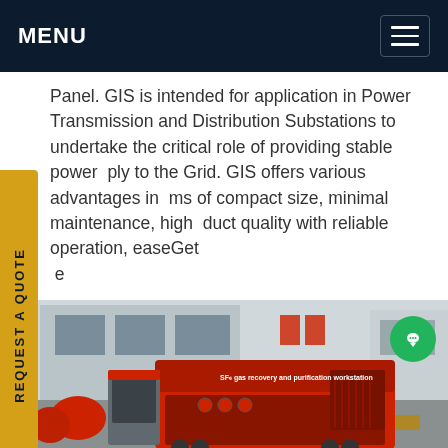MENU
Panel. GIS is intended for application in Power Transmission and Distribution Substations to undertake the critical role of providing stable power supply to the Grid. GIS offers various advantages in terms of compact size, minimal maintenance, high product quality with reliable operation, easeGet ce
[Figure (photo): Industrial red SF6 gas recovery and purification equipment/machine outdoors in a yard, with red gas cylinders on the left and buildings in the background.]